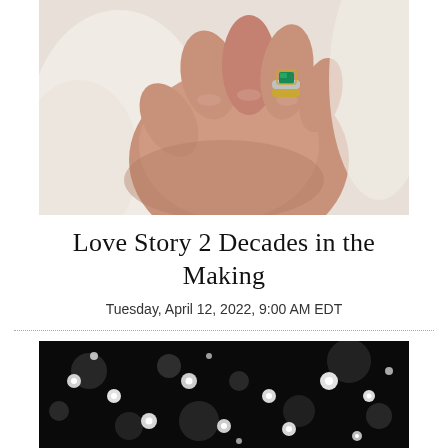[Figure (photo): A close-up photo of a hand wearing a ring with a green gemstone set in gold, against a white fabric background.]
Love Story 2 Decades in the Making
Tuesday, April 12, 2022, 9:00 AM EDT
[Figure (photo): A close-up photo of multiple small round diamonds or gems scattered on a black background, with bokeh effect.]